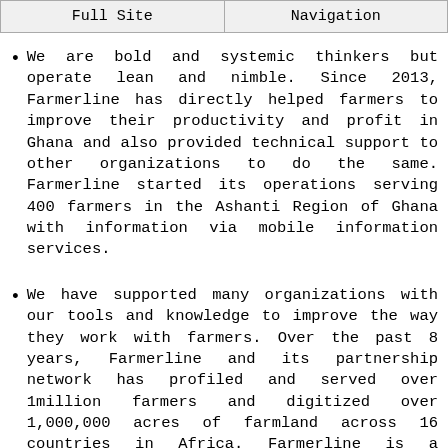Full Site | Navigation
We are bold and systemic thinkers but operate lean and nimble. Since 2013, Farmerline has directly helped farmers to improve their productivity and profit in Ghana and also provided technical support to other organizations to do the same. Farmerline started its operations serving 400 farmers in the Ashanti Region of Ghana with information via mobile information services.
We have supported many organizations with our tools and knowledge to improve the way they work with farmers. Over the past 8 years, Farmerline and its partnership network has profiled and served over 1million farmers and digitized over 1,000,000 acres of farmland across 16 countries in Africa. Farmerline is a learning organization and you will have the chance to apply your ideas and creativity to solve problems